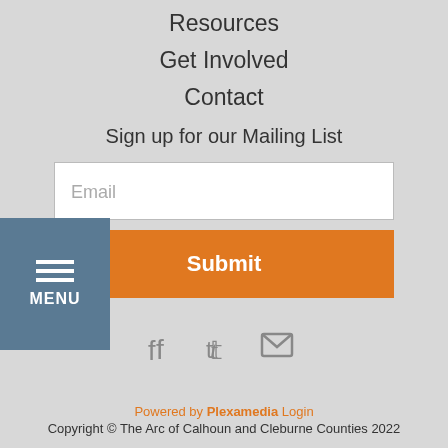Resources
Get Involved
Contact
Sign up for our Mailing List
Email
Submit
[Figure (other): Social media icons: Facebook, Twitter, Email]
Powered by Plexamedia Login
Copyright © The Arc of Calhoun and Cleburne Counties 2022